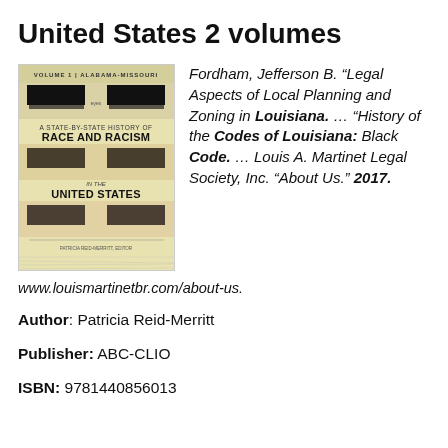United States 2 volumes
[Figure (illustration): Book cover of 'A State-by-State History of Race and Racism in the United States' Volume 1: Alabama-Missouri, edited by Patricia Reid-Merritt. Yellowish cover with black bars obscuring eyes of three individuals.]
Fordham, Jefferson B. “Legal Aspects of Local Planning and Zoning in Louisiana. ... “History of the Codes of Louisiana: Black Code. ... Louis A. Martinet Legal Society, Inc. “About Us.” 2017.
www.louismartinetbr.com/about-us.
Author: Patricia Reid-Merritt
Publisher: ABC-CLIO
ISBN: 9781440856013